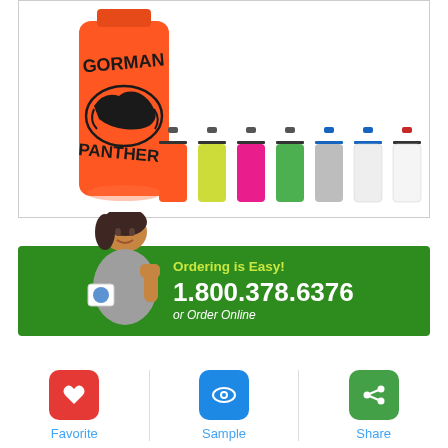[Figure (photo): Product photo of an orange sports water bottle branded with 'GORMAN PANTHERS' and a panther logo, plus 6 smaller color variant bottles (orange, yellow-green, pink, green, silver, white) shown in the right portion of the image.]
[Figure (infographic): Green promotional banner with a woman holding a mug giving thumbs up, text reads 'Ordering is Easy! 1.800.378.6376 or Order Online']
Ordering is Easy!
1.800.378.6376
or Order Online
Favorite
Sample
Share